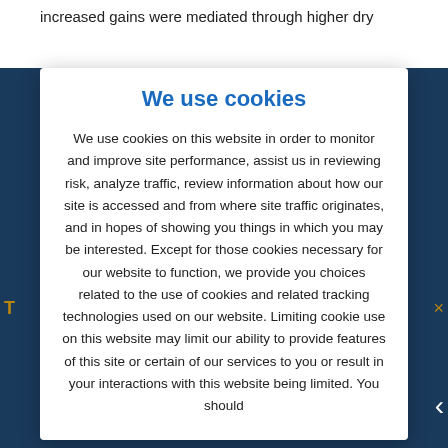increased gains were mediated through higher dry
n
We use cookies
We use cookies on this website in order to monitor and improve site performance, assist us in reviewing risk, analyze traffic, review information about how our site is accessed and from where site traffic originates, and in hopes of showing you things in which you may be interested. Except for those cookies necessary for our website to function, we provide you choices related to the use of cookies and related tracking technologies used on our website. Limiting cookie use on this website may limit our ability to provide features of this site or certain of our services to you or result in your interactions with this website being limited. You should